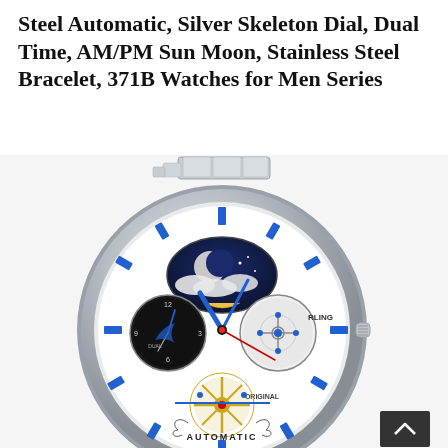Steel Automatic, Silver Skeleton Dial, Dual Time, AM/PM Sun Moon, Stainless Steel Bracelet, 371B Watches for Men Series
[Figure (photo): Stuhrling Original men's skeleton automatic watch with silver stainless steel bracelet, blue hands and hour markers, moon phase display at top, dual time subdials, exposed gold gear mechanisms, and 'AUTOMATIC' text at bottom of dial.]